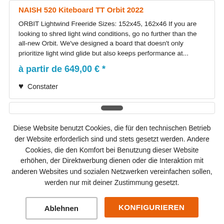NAISH 520 Kiteboard TT Orbit 2022
ORBIT Lightwind Freeride Sizes: 152x45, 162x46 If you are looking to shred light wind conditions, go no further than the all-new Orbit. We've designed a board that doesn't only prioritize light wind glide but also keeps performance at...
à partir de 649,00 € *
Constater
Diese Website benutzt Cookies, die für den technischen Betrieb der Website erforderlich sind und stets gesetzt werden. Andere Cookies, die den Komfort bei Benutzung dieser Website erhöhen, der Direktwerbung dienen oder die Interaktion mit anderen Websites und sozialen Netzwerken vereinfachen sollen, werden nur mit deiner Zustimmung gesetzt.
Ablehnen
KONFIGURIEREN